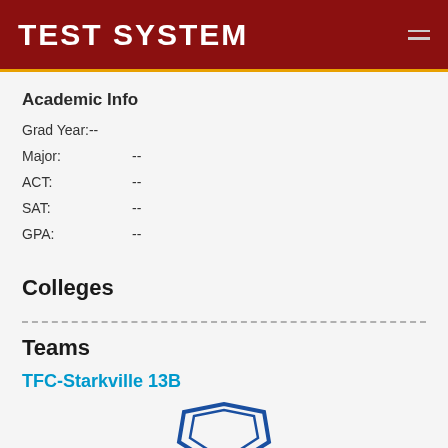TEST SYSTEM
Academic Info
Grad Year: --
Major:      --
ACT:        --
SAT:        --
GPA:        --
Colleges
Teams
TFC-Starkville 13B
[Figure (logo): TFC-Starkville team logo, partially visible at the bottom of the page]